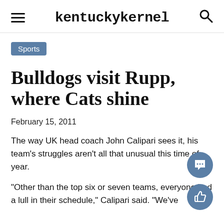kentuckykernel
Sports
Bulldogs visit Rupp, where Cats shine
February 15, 2011
The way UK head coach John Calipari sees it, his team's struggles aren't all that unusual this time of year.
“Other than the top six or seven teams, everyone had a lull in their schedule,” Calipari said. “We've...